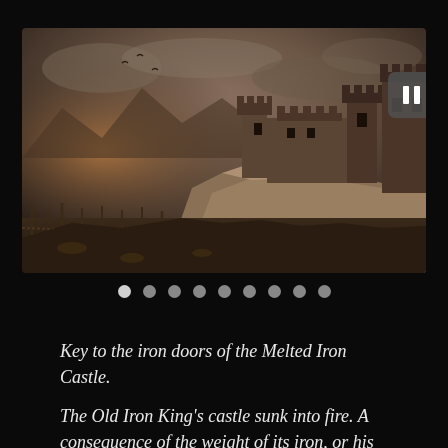[Figure (screenshot): Dark fantasy game scene showing a castle built on rocky cliffs above a dark shoreline, with a stormy sky. A pause button (two white vertical bars on dark rounded square) is visible in the top right of the image. Navigation dots appear below the image, with the first dot highlighted white.]
Key to the iron doors of the Melted Iron Castle.
The Old Iron King's castle sunk into fire. A consequence of the weight of its iron, or his hubris.